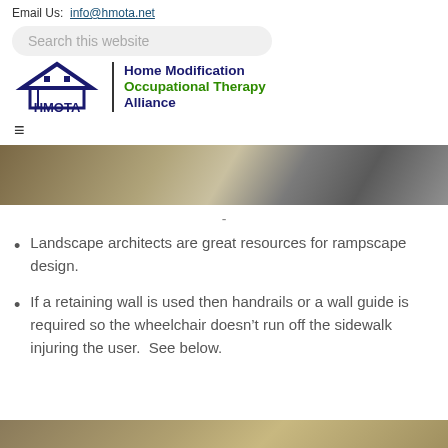Email Us:  info@hmota.net
[Figure (screenshot): Search bar with placeholder text 'Search this website']
[Figure (logo): HMOTA logo with house icon and text 'Home Modification Occupational Therapy Alliance']
[Figure (other): Hamburger menu icon (three horizontal lines)]
[Figure (photo): Partial photo of an outdoor ramp or pathway surface]
-
Landscape architects are great resources for rampscape design.
If a retaining wall is used then handrails or a wall guide is required so the wheelchair doesn't run off the sidewalk injuring the user.  See below.
[Figure (photo): Partial photo visible at bottom of page, outdoor surface]